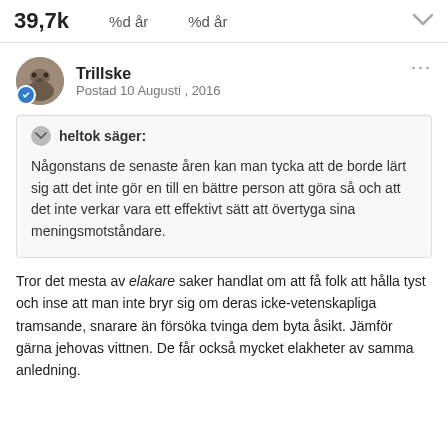39,7k   %d år   %d år
Trillske
Postad 10 Augusti , 2016
heltok säger:

Någonstans de senaste åren kan man tycka att de borde lärt sig att det inte gör en till en bättre person att göra så och att det inte verkar vara ett effektivt sätt att övertyga sina meningsmotståndare.
Tror det mesta av elakare saker handlat om att få folk att hålla tyst och inse att man inte bryr sig om deras icke-vetenskapliga tramsande, snarare än försöka tvinga dem byta åsikt. Jämför gärna jehovas vittnen. De får också mycket elakheter av samma anledning.